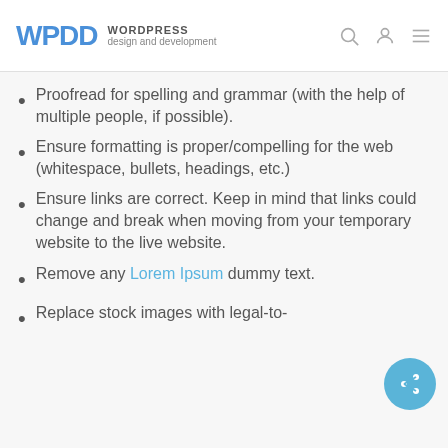WPDD WORDPRESS design and development
Proofread for spelling and grammar (with the help of multiple people, if possible).
Ensure formatting is proper/compelling for the web (whitespace, bullets, headings, etc.)
Ensure links are correct. Keep in mind that links could change and break when moving from your temporary website to the live website.
Remove any Lorem Ipsum dummy text.
Replace stock images with legal-to-